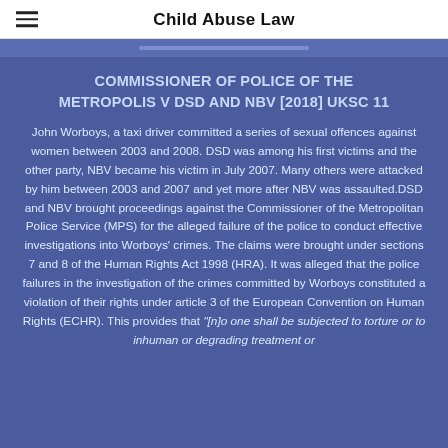Child Abuse Law
COMMISSIONER OF POLICE OF THE METROPOLIS V DSD AND NBV [2018] UKSC 11
John Worboys, a taxi driver committed a series of sexual offences against women between 2003 and 2008. DSD was among his first victims and the other party, NBV became his victim in July 2007. Many others were attacked by him between 2003 and 2007 and yet more after NBV was assaulted.DSD and NBV brought proceedings against the Commissioner of the Metropolitan Police Service (MPS) for the alleged failure of the police to conduct effective investigations into Worboys' crimes. The claims were brought under sections 7 and 8 of the Human Rights Act 1998 (HRA). It was alleged that the police failures in the investigation of the crimes committed by Worboys constituted a violation of their rights under article 3 of the European Convention on Human Rights (ECHR). This provides that "[n]o one shall be subjected to torture or to inhuman or degrading treatment or